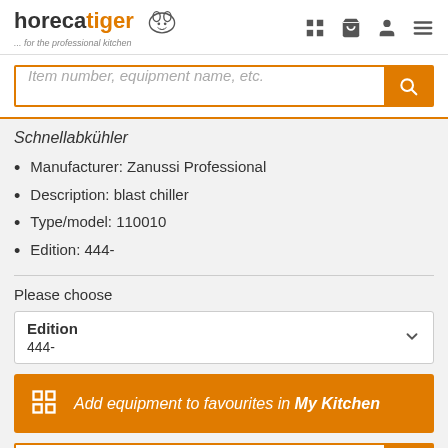[Figure (logo): horecatiger logo with tiger icon and tagline '... for the professional kitchen']
Item number, equipment name, etc.
Schnellabkühler
Manufacturer: Zanussi Professional
Description: blast chiller
Type/model: 110010
Edition: 444-
Please choose
Edition
444-
Add equipment to favourites in My Kitchen
Free text search